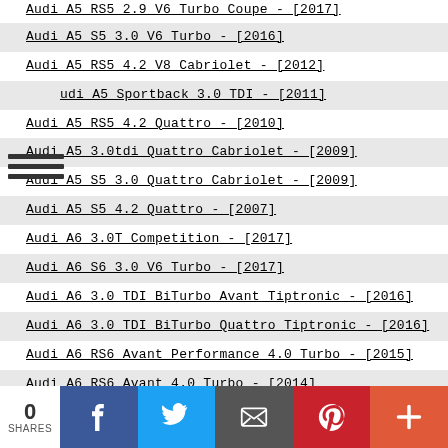Audi A5 RS5 2.9 V6 Turbo Coupe - [2017]
Audi A5 S5 3.0 V6 Turbo - [2016]
Audi A5 RS5 4.2 V8 Cabriolet - [2012]
Audi A5 Sportback 3.0 TDI - [2011]
Audi A5 RS5 4.2 Quattro - [2010]
Audi A5 3.0tdi Quattro Cabriolet - [2009]
Audi A5 S5 3.0 Quattro Cabriolet - [2009]
Audi A5 S5 4.2 Quattro - [2007]
Audi A6 3.0T Competition - [2017]
Audi A6 S6 3.0 V6 Turbo - [2017]
Audi A6 3.0 TDI BiTurbo Avant Tiptronic - [2016]
Audi A6 3.0 TDI BiTurbo Quattro Tiptronic - [2016]
Audi A6 RS6 Avant Performance 4.0 Turbo - [2015]
Audi A6 RS6 Avant 4.0 Turbo - [2014]
Audi A6 RS6 Avant 4.0 V8 Twin Turbo - [2012]
Audi A6 3.0 TDI Quattro - [2012]